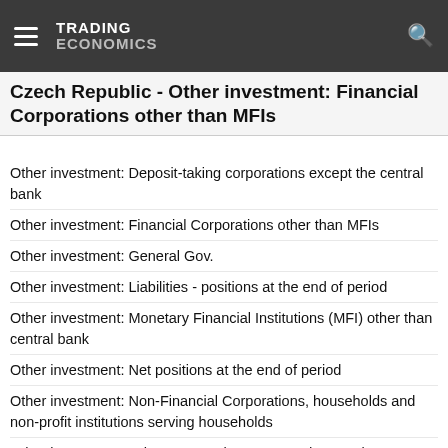TRADING ECONOMICS
Czech Republic - Other investment: Financial Corporations other than MFIs
Other investment: Deposit-taking corporations except the central bank
Other investment: Financial Corporations other than MFIs
Other investment: General Gov.
Other investment: Liabilities - positions at the end of period
Other investment: Monetary Financial Institutions (MFI) other than central bank
Other investment: Net positions at the end of period
Other investment: Non-Financial Corporations, households and non-profit institutions serving households
Other investment: Other sectors than MFIs and general gov.
Portfolio investement: Assets - positions at the end of period
Portfolio investement: Liabilities - positions at the end of period
Portfolio investement: Net positions at the end of period